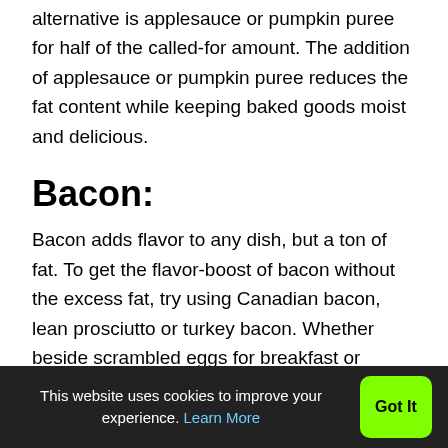alternative is applesauce or pumpkin puree for half of the called-for amount. The addition of applesauce or pumpkin puree reduces the fat content while keeping baked goods moist and delicious.
Bacon:
Bacon adds flavor to any dish, but a ton of fat. To get the flavor-boost of bacon without the excess fat, try using Canadian bacon, lean prosciutto or turkey bacon. Whether beside scrambled eggs for breakfast or crumbled into a casserole, these tasty alternatives will satisfy.
Salt:
This website uses cookies to improve your experience. Learn More